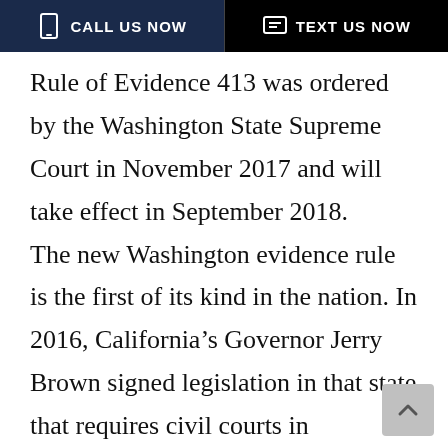CALL US NOW | TEXT US NOW
Rule of Evidence 413 was ordered by the Washington State Supreme Court in November 2017 and will take effect in September 2018.
The new Washington evidence rule is the first of its kind in the nation. In 2016, California’s Governor Jerry Brown signed legislation in that state that requires civil courts in California to treat all personal injury plaintiffs the same without any